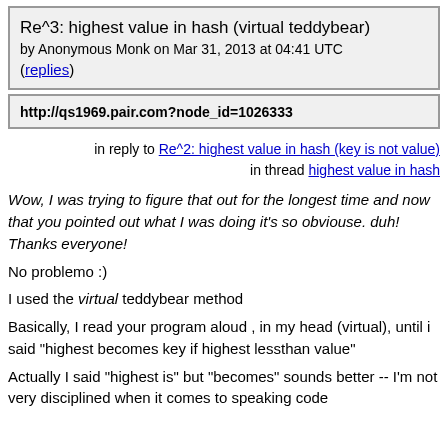Re^3: highest value in hash (virtual teddybear)
by Anonymous Monk on Mar 31, 2013 at 04:41 UTC
(replies)
http://qs1969.pair.com?node_id=1026333
in reply to Re^2: highest value in hash (key is not value)
in thread highest value in hash
Wow, I was trying to figure that out for the longest time and now that you pointed out what I was doing it's so obviouse. duh! Thanks everyone!
No problemo :)
I used the virtual teddybear method
Basically, I read your program aloud , in my head (virtual), until i said "highest becomes key if highest lessthan value"
Actually I said "highest is" but "becomes" sounds better -- I'm not very disciplined when it comes to speaking code